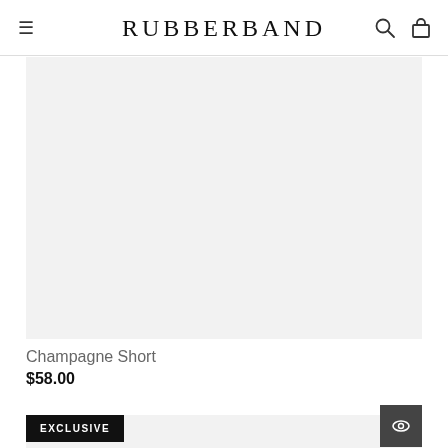RUBBERBAND
[Figure (photo): Product image placeholder with light gray background for Champagne Short]
Champagne Short
$58.00
[Figure (photo): Second product image area with EXCLUSIVE badge and eye icon button]